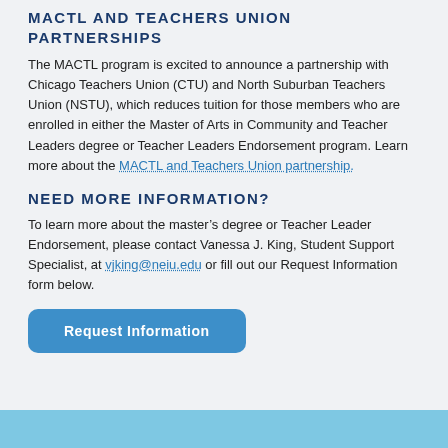MACTL AND TEACHERS UNION PARTNERSHIPS
The MACTL program is excited to announce a partnership with Chicago Teachers Union (CTU) and North Suburban Teachers Union (NSTU), which reduces tuition for those members who are enrolled in either the Master of Arts in Community and Teacher Leaders degree or Teacher Leaders Endorsement program. Learn more about the MACTL and Teachers Union partnership.
NEED MORE INFORMATION?
To learn more about the master’s degree or Teacher Leader Endorsement, please contact Vanessa J. King, Student Support Specialist, at vjking@neiu.edu or fill out our Request Information form below.
Request Information